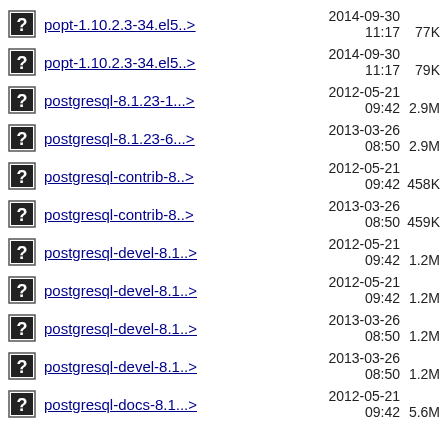popt-1.10.2.3-34.el5..> 2014-09-30 11:17 77K
popt-1.10.2.3-34.el5..> 2014-09-30 11:17 79K
postgresql-8.1.23-1...> 2012-05-21 09:42 2.9M
postgresql-8.1.23-6...> 2013-03-26 08:50 2.9M
postgresql-contrib-8..> 2012-05-21 09:42 458K
postgresql-contrib-8..> 2013-03-26 08:50 459K
postgresql-devel-8.1..> 2012-05-21 09:42 1.2M
postgresql-devel-8.1..> 2012-05-21 09:42 1.2M
postgresql-devel-8.1..> 2013-03-26 08:50 1.2M
postgresql-devel-8.1..> 2013-03-26 08:50 1.2M
postgresql-docs-8.1...> 2012-05-21 09:42 5.6M